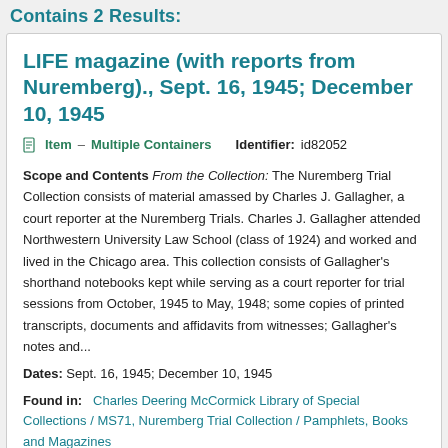Contains 2 Results:
LIFE magazine (with reports from Nuremberg)., Sept. 16, 1945; December 10, 1945
Item – Multiple Containers   Identifier: id82052
Scope and Contents From the Collection: The Nuremberg Trial Collection consists of material amassed by Charles J. Gallagher, a court reporter at the Nuremberg Trials. Charles J. Gallagher attended Northwestern University Law School (class of 1924) and worked and lived in the Chicago area. This collection consists of Gallagher's shorthand notebooks kept while serving as a court reporter for trial sessions from October, 1945 to May, 1948; some copies of printed transcripts, documents and affidavits from witnesses; Gallagher's notes and...
Dates: Sept. 16, 1945; December 10, 1945
Found in:   Charles Deering McCormick Library of Special Collections / MS71, Nuremberg Trial Collection / Pamphlets, Books and Magazines